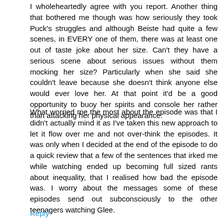I wholeheartedly agree with you report. Another thing that bothered me though was how seriously they took Puck's struggles and although Beiste had quite a few scenes, in EVERY one of them, there was at least one out of taste joke about her size. Can't they have a serious scene about serious issues without them mocking her size? Particularly when she said she couldn't leave because she doesn't think anyone else would ever love her. At that point it'd be a good opportunity to buoy her spirits and console her rather than attacking her physical appearance.
What worried me the most about the episode was that I didn't actually mind it as I've taken this new approach to let it flow over me and not over-think the episodes. It was only when I decided at the end of the episode to do a quick review that a few of the sentences that irked me while watching ended up becoming full sized rants about inequality, that I realised how bad the episode was. I worry about the messages some of these episodes send out subconsciously to the other teenagers watching Glee.
Reply